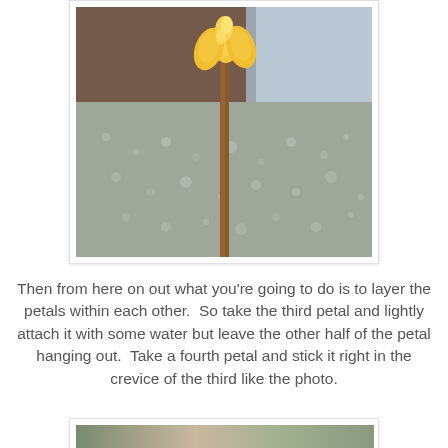[Figure (photo): Close-up photo of a yellow fondant or clay rose bud on a toothpick or wooden skewer, set against a blurred gray foam or styrofoam background with small bubbles.]
Then from here on out what you're going to do is to layer the petals within each other.  So take the third petal and lightly attach it with some water but leave the other half of the petal hanging out.  Take a fourth petal and stick it right in the crevice of the third like the photo.
[Figure (photo): Partial view of another step photo showing a blurred close-up of the petal layering process, cropped at the bottom of the page.]